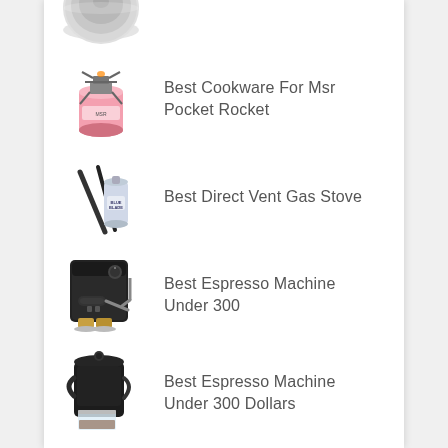[Figure (photo): Partial image of a round metallic cookware/pot lid, cropped at top]
Best Cookware For Msr Pocket Rocket
[Figure (photo): MSR Pocket Rocket camp stove on a pink gas canister]
Best Direct Vent Gas Stove
[Figure (photo): A propane/gas fuel canister with two black rods/legs beside it]
Best Espresso Machine Under 300
[Figure (photo): Black espresso machine with cups of espresso in front]
Best Espresso Machine Under 300 Dollars
[Figure (photo): Black espresso machine with glass carafe]